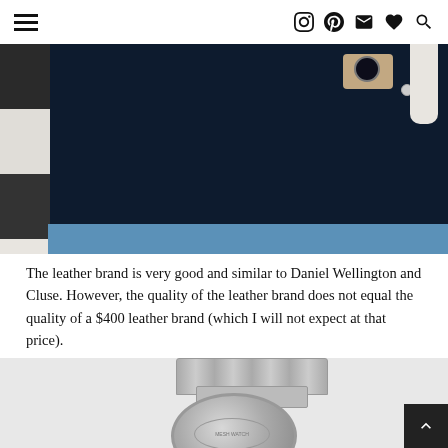Navigation header with hamburger menu and social icons (Instagram, Pinterest, Email, Favorite, Search)
[Figure (photo): Person wearing dark navy jacket and jeans with a watch on the wrist, photographed against a tiled wall background]
The leather brand is very good and similar to Daniel Wellington and Cluse. However, the quality of the leather brand does not equal the quality of a $400 leather brand (which I will not expect at that price).
[Figure (photo): Close-up photo of the back of a silver watch with a mesh/milanese strap]